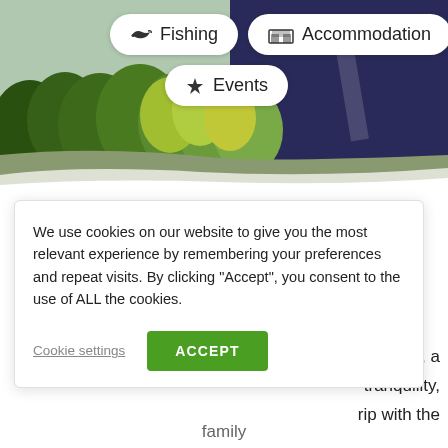[Figure (screenshot): Aerial view of a lakeside area with green trees on the left and dark blue water on the right, with navigation buttons overlaid: Fishing, Accommodation, Events]
We use cookies on our website to give you the most relevant experience by remembering your preferences and repeat visits. By clicking “Accept”, you consent to the use of ALL the cookies.
Cookie settings
ACCEPT
hat it is, a tranquility, rip with the
family